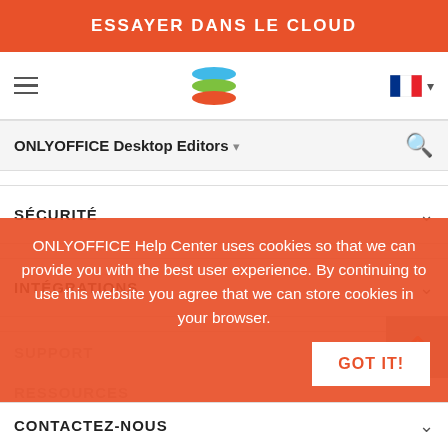ESSAYER DANS LE CLOUD
[Figure (screenshot): Navigation bar with hamburger menu, ONLYOFFICE stacked layers logo, and French flag with dropdown]
ONLYOFFICE Desktop Editors
SÉCURITÉ
INTÉGRATIONS
SUPPORT
RESSOURCES
CONTACTEZ-NOUS
ONLYOFFICE Help Center uses cookies so that we can provide you with the best user experience. By continuing to use this website you agree that we can store cookies in your browser.